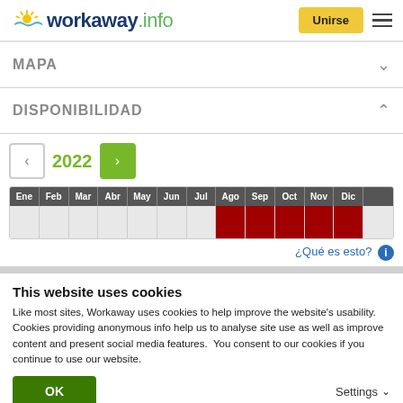[Figure (logo): Workaway.info logo with sun icon]
MAPA
DISPONIBILIDAD
[Figure (other): 2022 month availability calendar with Ago, Sep, Oct, Nov, Dic marked red]
¿Qué es esto?
This website uses cookies
Like most sites, Workaway uses cookies to help improve the website's usability. Cookies providing anonymous info help us to analyse site use as well as improve content and present social media features.  You consent to our cookies if you continue to use our website.
OK
Settings